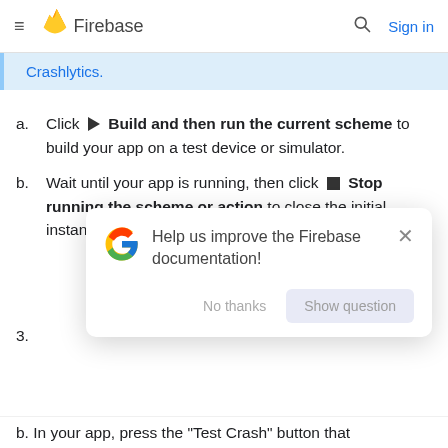Firebase
Crashlytics.
Click ▶ Build and then run the current scheme to build your app on a test device or simulator.
Wait until your app is running, then click ■ Stop running the scheme or action to close the initial instance of your app. This initial instance
[Figure (screenshot): Google help modal dialog: 'Help us improve the Firebase documentation!' with No thanks and Show question buttons, and an X close button]
b. In your app, press the "Test Crash" button that